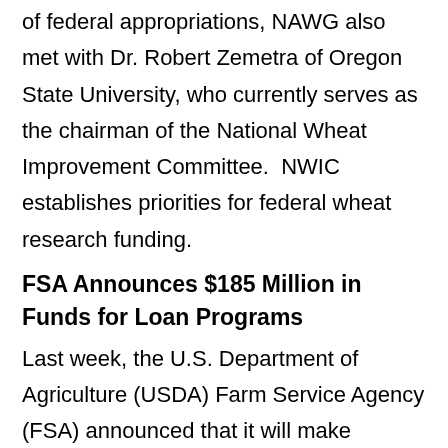of federal appropriations, NAWG also met with Dr. Robert Zemetra of Oregon State University, who currently serves as the chairman of the National Wheat Improvement Committee.  NWIC establishes priorities for federal wheat research funding.
FSA Announces $185 Million in Funds for Loan Programs
Last week, the U.S. Department of Agriculture (USDA) Farm Service Agency (FSA) announced that it will make available $185 million for the direct and guaranteed operating loan programs. Given the historic low prices that wheat has seen for the past